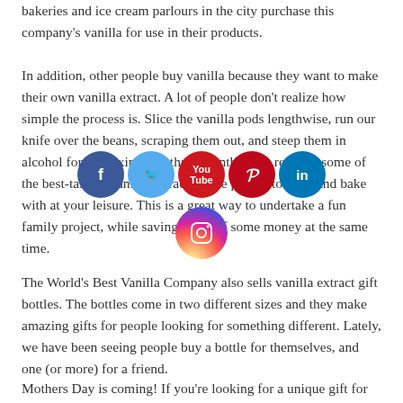bakeries and ice cream parlours in the city purchase this company's vanilla for use in their products.
[Figure (other): Social media icons: Facebook, Twitter, YouTube, Pinterest, LinkedIn, Instagram]
In addition, other people buy vanilla because they want to make their own vanilla extract.  A lot of people don't realize how simple the process is.  Slice the vanilla pods lengthwise, run our knife over the beans, scraping them out, and steep them in alcohol for approximately three months. The result is some of the best-tasting vanilla extract on the planet, to cook and bake with at your leisure.   This is a great way to undertake a fun family project, while saving yourself some money at the same time.
The World's Best Vanilla Company also sells vanilla extract gift bottles. The bottles come in two different sizes and they make amazing gifts for people looking for something different.  Lately, we have been seeing people buy a bottle for themselves, and one (or more) for a friend.
Mothers Day is coming!  If you're looking for a unique gift for Mom (and if you are lucky, she will bake for you...), or looking to support a small business, I highly recommend you check out The World's